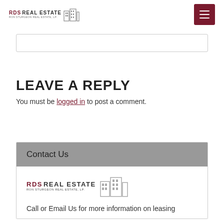RDS REAL ESTATE RON STURGEON REAL ESTATE, LP.
[Figure (logo): RDS Real Estate logo with building silhouette icons, text reading RDS REAL ESTATE RON STURGEON REAL ESTATE, LP.]
[Figure (screenshot): Search bar input field]
LEAVE A REPLY
You must be logged in to post a comment.
Contact Us
[Figure (logo): RDS Real Estate logo: RDS REAL ESTATE RON STURGEON REAL ESTATE, LP. with building icons]
Call or Email Us for more information on leasing